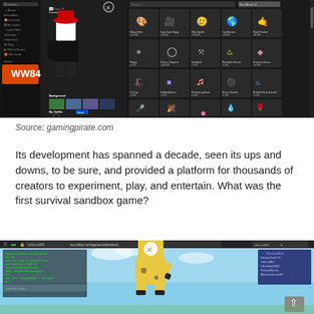[Figure (screenshot): Screenshot of Roblox avatar editor/catalog showing a dark-themed interface with a sidebar menu on the left, a white avatar character in the center-left, and a grid of catalog items (hats, accessories, gear) on the right with prices displayed.]
Source: gamingpirate.com
Its development has spanned a decade, seen its ups and downs, to be sure, and provided a platform for thousands of creators to experiment, play, and entertain. What was the first survival sandbox game?
[Figure (screenshot): Screenshot of a Roblox game with a blue sky background showing a yellow blocky dog character with a white circle X on its face, a chat box on the left with green text, and a player list on the top right. A scroll-to-top button is visible in the bottom right corner.]